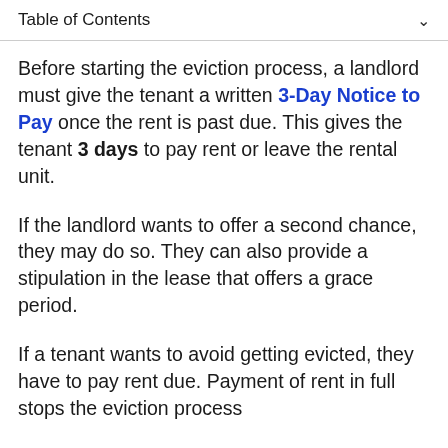Table of Contents
Before starting the eviction process, a landlord must give the tenant a written 3-Day Notice to Pay once the rent is past due. This gives the tenant 3 days to pay rent or leave the rental unit.
If the landlord wants to offer a second chance, they may do so. They can also provide a stipulation in the lease that offers a grace period.
If a tenant wants to avoid getting evicted, they have to pay rent due. Payment of rent in full stops the eviction process